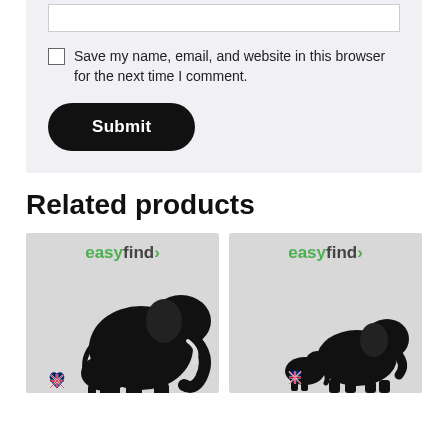[Figure (screenshot): Form section with text input box, checkbox labeled 'Save my name, email, and website in this browser for the next time I comment.' and a black rounded Submit button]
Related products
[Figure (illustration): easyfind logo product card with large elephant silhouette and baby elephant with UK flag heart, gray background]
[Figure (illustration): easyfind logo product card with adult elephant and small elephant silhouette with UK flag heart, gray background]